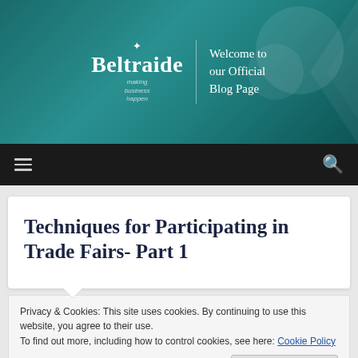[Figure (screenshot): Beltraide website header banner with teal/dark green background, Beltraide logo with bee icon on left, vertical divider, and 'Welcome to our Official Blog Page' text on right. Decorative circular shapes and arrow-like elements on the right side.]
Beltraide | Welcome to our Official Blog Page
Techniques for Participating in Trade Fairs- Part 1
Privacy & Cookies: This site uses cookies. By continuing to use this website, you agree to their use.
To find out more, including how to control cookies, see here: Cookie Policy
Advertisements